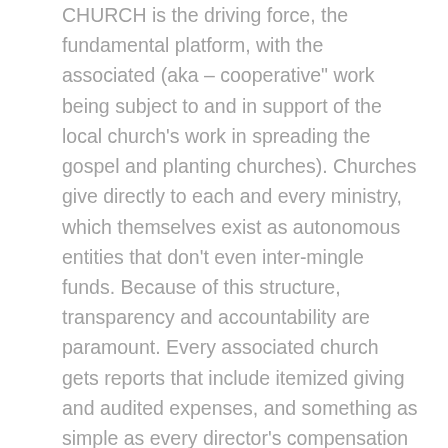CHURCH is the driving force, the fundamental platform, with the associated (aka – cooperative" work being subject to and in support of the local church's work in spreading the gospel and planting churches). Churches give directly to each and every ministry, which themselves exist as autonomous entities that don't even inter-mingle funds. Because of this structure, transparency and accountability are paramount. Every associated church gets reports that include itemized giving and audited expenses, and something as simple as every director's compensation is clearly listed (and approved) every year! The same-said directors are also re-elected by the body every year – thus they are directly accountable to the churches of the BMA (and the same structure is used at the state level as well). Every church decides which ministries they give to